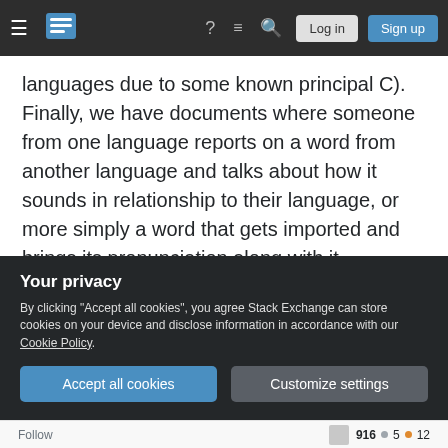Stack Exchange navigation bar with hamburger menu, logo, help, chat, search icons, Log in and Sign up buttons
languages due to some known principal C). Finally, we have documents where someone from one language reports on a word from another language and talks about how it sounds in relationship to their language, or more simply a word that gets imported and brings its pronunciation along with it.
Taken together, there are generally enough pieces to put together to demonstrate how a language may have sounded with pretty high certainty. If there aren't enough pieces, though, there may be several
Your privacy
By clicking "Accept all cookies", you agree Stack Exchange can store cookies on your device and disclose information in accordance with our Cookie Policy.
Accept all cookies | Customize settings
Follow  916 • 5 • 12